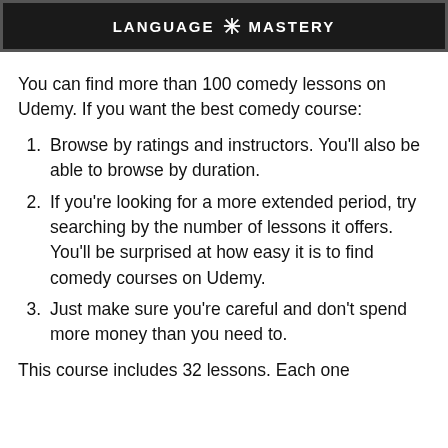[Figure (logo): Dark banner with 'LANGUAGE * MASTERY' text in white uppercase letters with a star/asterisk icon in the center]
You can find more than 100 comedy lessons on Udemy. If you want the best comedy course:
Browse by ratings and instructors. You'll also be able to browse by duration.
If you're looking for a more extended period, try searching by the number of lessons it offers. You'll be surprised at how easy it is to find comedy courses on Udemy.
Just make sure you're careful and don't spend more money than you need to.
This course includes 32 lessons. Each one